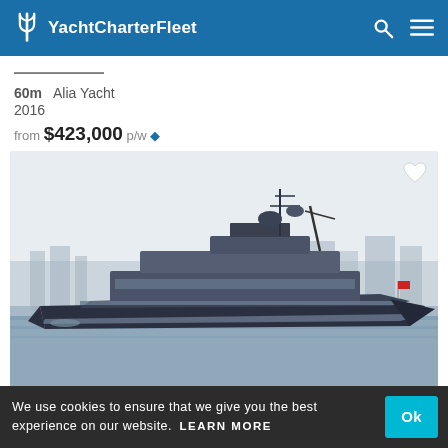YachtCharterFleet
60m  Alia Yacht
2016
from $423,000 p/w *
[Figure (photo): A large luxury superyacht photographed from the side, floating in a harbor with a cityscape in the background. The yacht is dark blue/grey with multiple decks, radar/communication equipment on top, and reflective windows.]
We use cookies to ensure that we give you the best experience on our website.  LEARN MORE